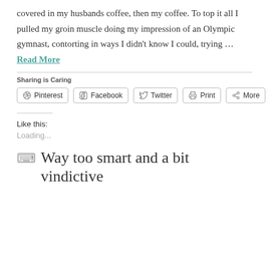covered in my husbands coffee, then my coffee. To top it all I pulled my groin muscle doing my impression of an Olympic gymnast, contorting in ways I didn't know I could, trying … Read More
Sharing is Caring
Pinterest  Facebook  Twitter  Print  More
Like this:
Loading...
Way too smart and a bit vindictive